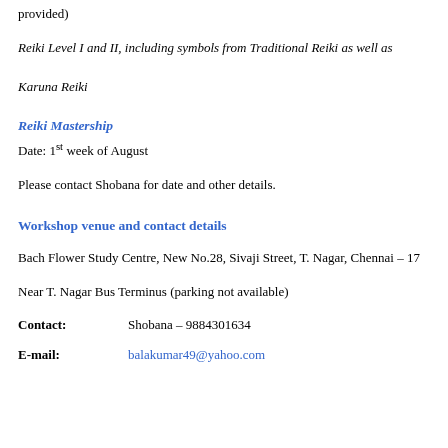provided)
Reiki Level I and II, including symbols from Traditional Reiki as well as Karuna Reiki
Reiki Mastership
Date: 1st week of August
Please contact Shobana for date and other details.
Workshop venue and contact details
Bach Flower Study Centre, New No.28, Sivaji Street, T. Nagar, Chennai – 17
Near T. Nagar Bus Terminus (parking not available)
Contact:    Shobana – 9884301634
E-mail:    balakumar49@yahoo.com